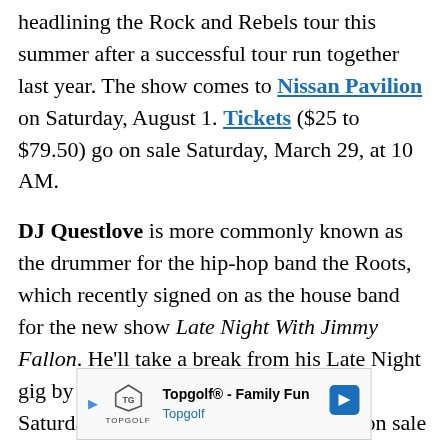headlining the Rock and Rebels tour this summer after a successful tour run together last year. The show comes to Nissan Pavilion on Saturday, August 1. Tickets ($25 to $79.50) go on sale Saturday, March 29, at 10 AM.
DJ Questlove is more commonly known as the drummer for the hip-hop band the Roots, which recently signed on as the house band for the new show Late Night With Jimmy Fallon. He'll take a break from his Late Night gig by performing at the 9:30 Club on Saturday, April 25. Tickets ($15) went on sale this morning.
[Figure (other): Advertisement banner for Topgolf - Family Fun, showing Topgolf logo, play button icon, and a navigation arrow icon on the right.]